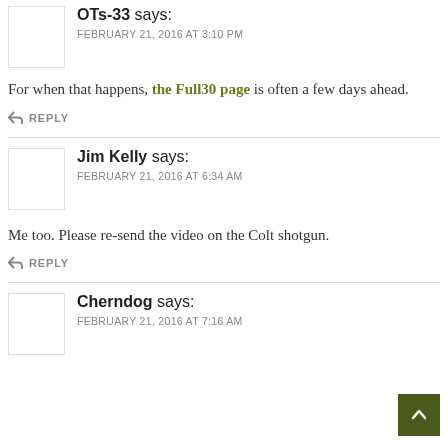OTs-33 says: FEBRUARY 21, 2016 AT 3:10 PM
For when that happens, the Full30 page is often a few days ahead.
↩ REPLY
Jim Kelly says: FEBRUARY 21, 2016 AT 6:34 AM
Me too. Please re-send the video on the Colt shotgun.
↩ REPLY
Cherndog says: FEBRUARY 21, 2016 AT 7:16 AM